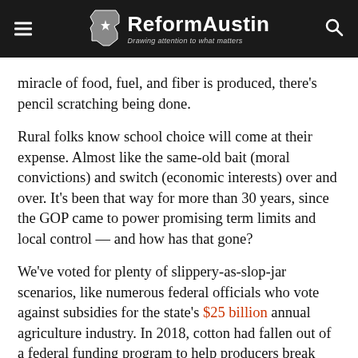ReformAustin — Drawing attention to what matters
miracle of food, fuel, and fiber is produced, there's pencil scratching being done.
Rural folks know school choice will come at their expense. Almost like the same-old bait (moral convictions) and switch (economic interests) over and over. It's been that way for more than 30 years, since the GOP came to power promising term limits and local control — and how has that gone?
We've voted for plenty of slippery-as-slop-jar scenarios, like numerous federal officials who vote against subsidies for the state's $25 billion annual agriculture industry. In 2018, cotton had fallen out of a federal funding program to help producers break even, and it was Abbott who single-handedly stalled restoration